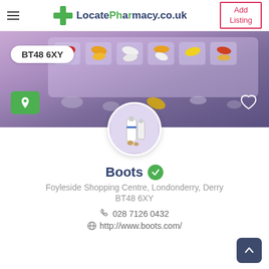[Figure (screenshot): LocatePharmacy.co.uk website navigation bar with hamburger menu, green cross logo, and Add Listing button]
[Figure (photo): Hero banner showing a pill organizer tray with colorful capsules and tablets on a purple-toned background, with postcode badge BT48 6XY, green location button, and heart icon]
[Figure (photo): Circular profile image of pharmacy supplements/bottles]
Boots
Foyleside Shopping Centre, Londonderry, Derry
BT48 6XY
028 7126 0432
http://www.boots.com/